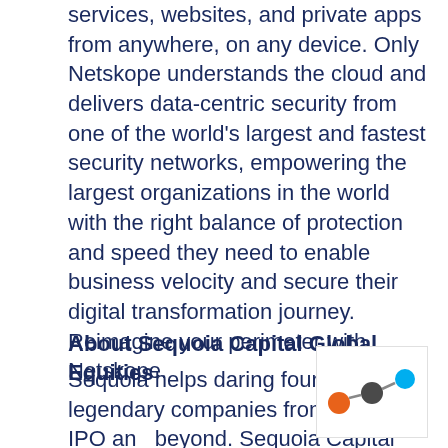services, websites, and private apps from anywhere, on any device. Only Netskope understands the cloud and delivers data-centric security from one of the world's largest and fastest security networks, empowering the largest organizations in the world with the right balance of protection and speed they need to enable business velocity and secure their digital transformation journey. Reimagine your perimeter with Netskope.
About Sequoia Capital Global Equities
Sequoia helps daring founders build legendary companies from idea to IPO and beyond. Sequoia Capital Global Equities (SCGE) extends Sequoia's efforts into the
[Figure (logo): Netskope logo: three connected dots in orange, dark gray, and teal/cyan colors]